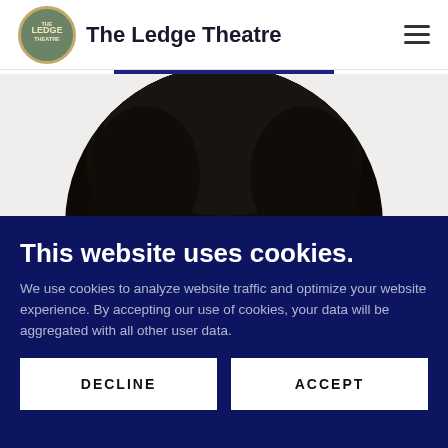The Ledge Theatre
[Figure (photo): Circular cropped headshot showing the top of a person's head with dark natural hair, forehead partially visible, on a light gray background]
This website uses cookies.
We use cookies to analyze website traffic and optimize your website experience. By accepting our use of cookies, your data will be aggregated with all other user data.
DECLINE
ACCEPT